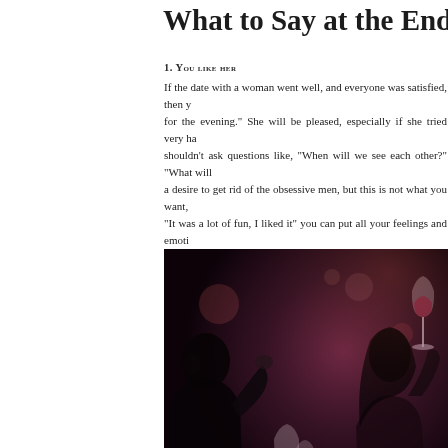What to Say at the End of a D
1. You like her
If the date with a woman went well, and everyone was satisfied, then y for the evening.  She will be pleased, especially if she tried very ha shouldn't ask questions like, "When will we see each other?" "What will a desire to get rid of the obsessive men, but this is not what you want, "It was a lot of fun, I liked it" you can put all your feelings and emoti
[Figure (photo): A couple on a romantic date, man and woman holding wine glasses, warm restaurant lighting, ND watermark]
appreciated.

What else to say at the date during some intri example, you can comp
- You know, you are so your character that mak
- What feature? - She wi
- I can't tell you today. I
The girl will most likely to find out what kind o with her, but don't ans hint that you have to g
intrigued, she will look forward to your call and the next meeting.
2. If you didn't like her
Ending a first date, be honest about the lack of attraction.There is a bi